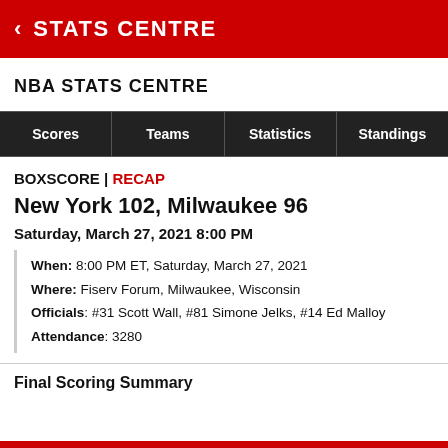STATS CENTRE
NBA STATS CENTRE
| Scores | Teams | Statistics | Standings |
| --- | --- | --- | --- |
BOXSCORE | RECAP
New York 102, Milwaukee 96
Saturday, March 27, 2021 8:00 PM
When: 8:00 PM ET, Saturday, March 27, 2021
Where: Fiserv Forum, Milwaukee, Wisconsin
Officials: #31 Scott Wall, #81 Simone Jelks, #14 Ed Malloy
Attendance: 3280
Final Scoring Summary